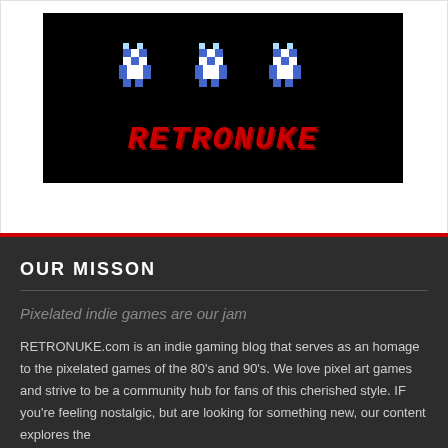[Figure (logo): RetroNuke logo: black background with pixelated blue/white robot characters at top and red pixel-art text reading RETRONUKE below]
OUR MISSON
Pixelated indie games are our jam
RETRONUKE.com is an indie gaming blog that serves as an homage to the pixelated games of the 80's and 90's. We love pixel art games and strive to be a community hub for fans of this cherished style. IF you're feeling nostalgic, but are looking for something new, our content explores the